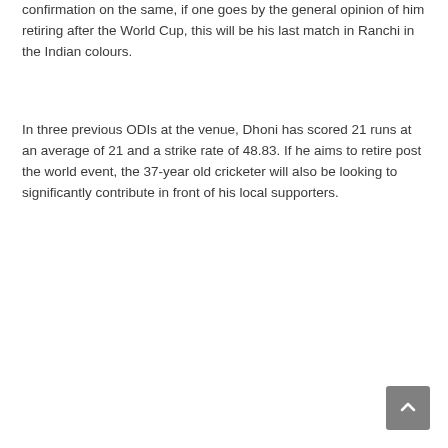confirmation on the same, if one goes by the general opinion of him retiring after the World Cup, this will be his last match in Ranchi in the Indian colours.
In three previous ODIs at the venue, Dhoni has scored 21 runs at an average of 21 and a strike rate of 48.83. If he aims to retire post the world event, the 37-year old cricketer will also be looking to significantly contribute in front of his local supporters.